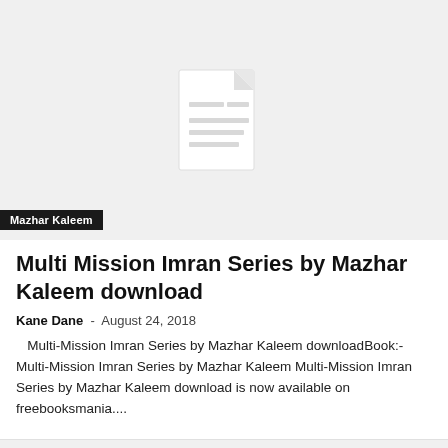[Figure (illustration): Document/file placeholder icon on a light grey background]
Mazhar Kaleem
Multi Mission Imran Series by Mazhar Kaleem download
Kane Dane - August 24, 2018
Multi-Mission Imran Series by Mazhar Kaleem downloadBook:- Multi-Mission Imran Series by Mazhar Kaleem Multi-Mission Imran Series by Mazhar Kaleem download is now available on freebooksmania....